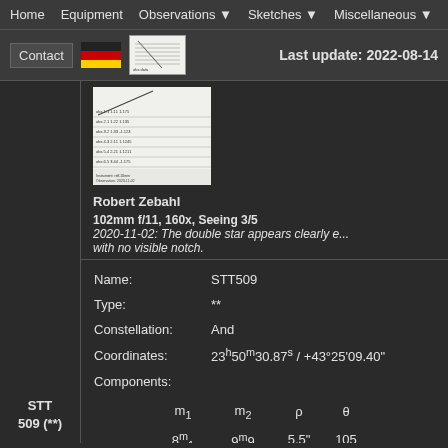Home   Equipment   Observations ▼   Sketches ▼   Miscellaneous ▼
Contact | Last update: 2022-08-14
[Figure (screenshot): Thumbnail of an astronomical observation chart/table document]
Robert Zebahl
102mm f/11, 160x, Seeing 3/5
2020-11-02: The double star appears clearly e... with no visible notch.
| Name: | STT509 |
| --- | --- |
| Type: | ** |
| Constellation: | And |
| Coordinates: | 23h50m30.87s / +43°25'09.40" |
| Components: |  |
| m1 | m2 | ρ | θ |
| --- | --- | --- | --- |
| 8m1 | 9m9 | 5.5" | 105 |
STT 509 (**)